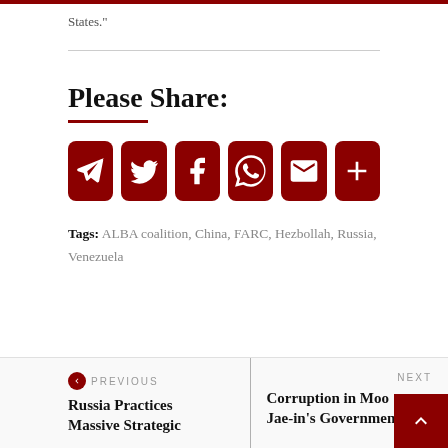States."
Please Share:
[Figure (infographic): Six dark red rounded square social share buttons in a row: Telegram, Twitter, Facebook, WhatsApp, Email, and More (+)]
Tags: ALBA coalition, China, FARC, Hezbollah, Russia, Venezuela
PREVIOUS
Russia Practices Massive Strategic
NEXT
Corruption in Moon Jae-in's Government